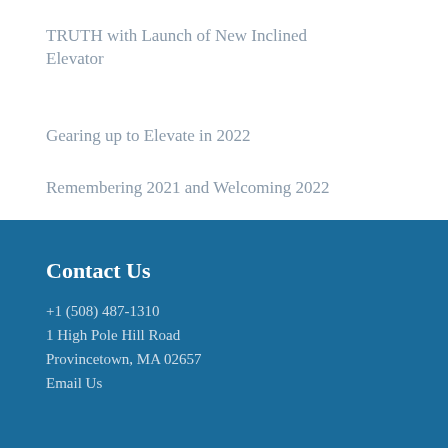TRUTH with Launch of New Inclined Elevator
Gearing up to Elevate in 2022
Remembering 2021 and Welcoming 2022
Contact Us
+1 (508) 487-1310
1 High Pole Hill Road
Provincetown, MA 02657
Email Us